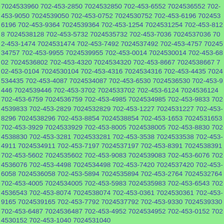7024533960 702-453-2850 7024532850 702-453-6552 7024536552 702-453-9050 7024539050 702-453-0752 7024530752 702-453-6196 7024536196 702-453-9364 7024539364 702-453-1254 7024531254 702-453-8128 7024538128 702-453-5732 7024535732 702-453-7036 7024537036 702-453-1474 7024531474 702-453-7492 7024537492 702-453-4757 7024534757 702-453-9955 7024539955 702-453-0014 7024530014 702-453-6802 7024536802 702-453-4320 7024534320 702-453-8667 7024538667 702-453-0104 7024530104 702-453-4316 7024534316 702-453-4435 7024534435 702-453-4087 7024534087 702-453-6530 7024536530 702-453-9446 7024539446 702-453-3702 7024533702 702-453-6124 7024536124 702-453-6759 7024536759 702-453-4985 7024534985 702-453-9833 7024539833 702-453-2829 7024532829 702-453-1227 7024531227 702-453-8296 7024538296 702-453-8854 7024538854 702-453-1653 7024531653 702-453-3929 7024533929 702-453-8005 7024538005 702-453-8830 7024538830 702-453-3281 7024533281 702-453-3538 7024533538 702-453-4911 7024534911 702-453-7197 7024537197 702-453-8391 7024538391 702-453-5602 7024535602 702-453-9083 7024539083 702-453-6076 7024536076 702-453-4498 7024534498 702-453-7420 7024537420 702-453-6058 7024536058 702-453-5894 7024535894 702-453-2764 7024532764 702-453-4005 7024534005 702-453-5983 7024535983 702-453-6543 7024536543 702-453-8074 7024538074 702-453-0361 7024530361 702-453-9165 7024539165 702-453-7792 7024537792 702-453-9330 7024539330 702-453-6487 7024536487 702-453-4952 7024534952 702-453-0152 7024530152 702-453-1040 7024531040